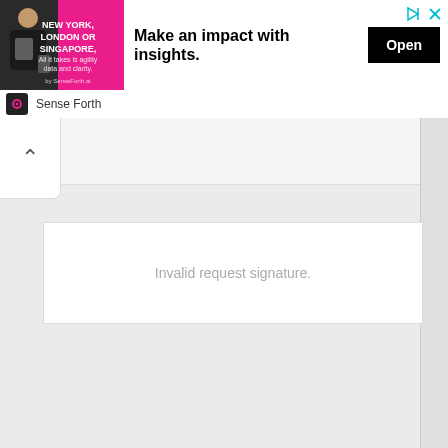[Figure (screenshot): Advertisement banner with pink background image showing a man with luggage, text 'NEW YORK, LONDON OR SINGAPORE', main heading 'Make an impact with insights.', an Open button, and close/ad-info icons. Brand 'Sense Forth' shown below.]
Invalid request signature.